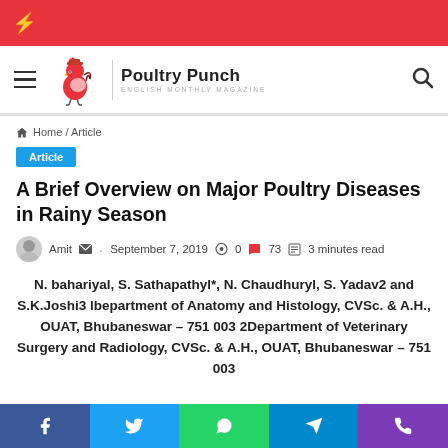Poultry Punch - English Monthly Magazine
Home / Article
Article
A Brief Overview on Major Poultry Diseases in Rainy Season
Amit · September 7, 2019 · 0 · 73 · 3 minutes read
N. bahariyal, S. Sathapathyl*, N. Chaudhuryl, S. Yadav2 and S.K.Joshi3 lbepartment of Anatomy and Histology, CVSc. & A.H., OUAT, Bhubaneswar – 751 003 2Department of Veterinary Surgery and Radiology, CVSc. & A.H., OUAT, Bhubaneswar – 751 003
Facebook Twitter WhatsApp Telegram Phone